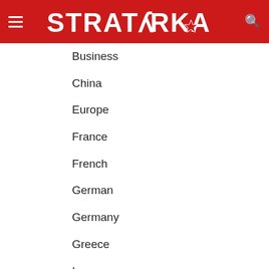STRATORKA
Business
China
Europe
France
French
German
Germany
Greece
Iraq
Syria
The US
Turkey
Turkic